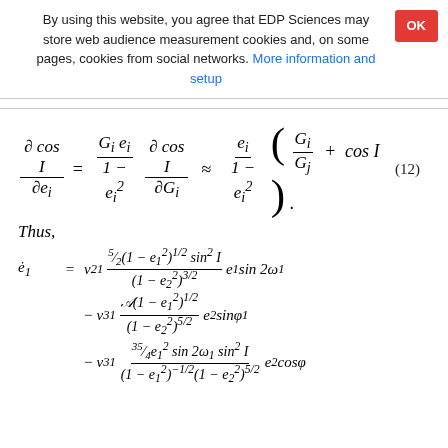By using this website, you agree that EDP Sciences may store web audience measurement cookies and, on some pages, cookies from social networks. More information and setup
Thus,